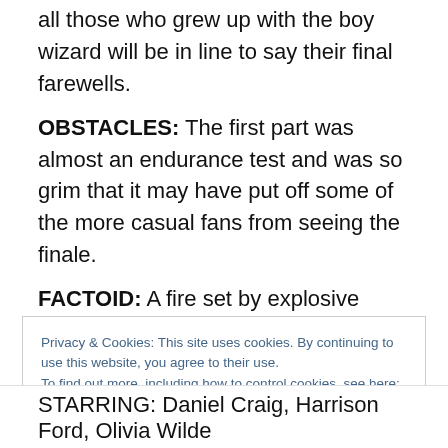all those who grew up with the boy wizard will be in line to say their final farewells.
OBSTACLES: The first part was almost an endurance test and was so grim that it may have put off some of the more casual fans from seeing the finale.
FACTOID: A fire set by explosive devices used during a battle scene on a Hogwart's set did some minor damage to the set. No actors, crew or stunt persons were injured during the mishap.
Privacy & Cookies: This site uses cookies. By continuing to use this website, you agree to their use.
To find out more, including how to control cookies, see here: Cookie Policy
Close and accept
STARRING: Daniel Craig, Harrison Ford, Olivia Wilde